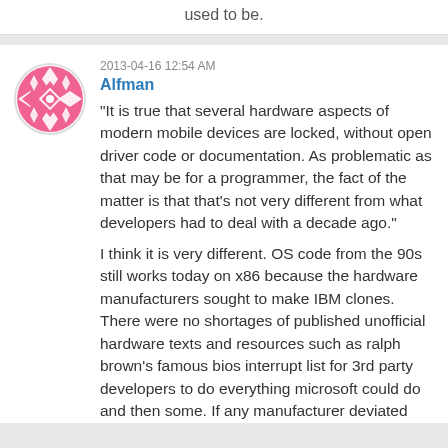used to be.
2013-04-16 12:54 AM
Alfman
"It is true that several hardware aspects of modern mobile devices are locked, without open driver code or documentation. As problematic as that may be for a programmer, the fact of the matter is that that's not very different from what developers had to deal with a decade ago."
I think it is very different. OS code from the 90s still works today on x86 because the hardware manufacturers sought to make IBM clones. There were no shortages of published unofficial hardware texts and resources such as ralph brown's famous bios interrupt list for 3rd party developers to do everything microsoft could do and then some. If any manufacturer deviated